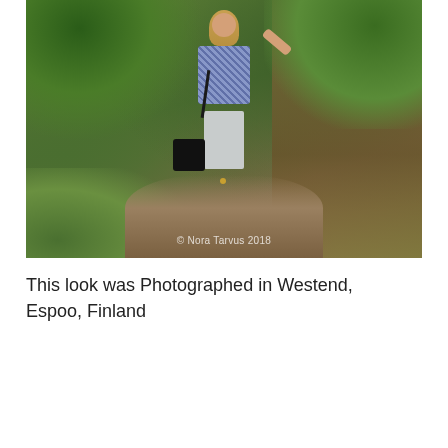[Figure (photo): Outdoor fashion photo of a woman standing on a dirt path. She is wearing a blue patterned blouse and light grey pants, carrying a black handbag. Background shows lush green plants, wildflowers, and a wooden fence. Watermark reads '© Nora Tarvus 2018'.]
This look was Photographed in Westend, Espoo, Finland